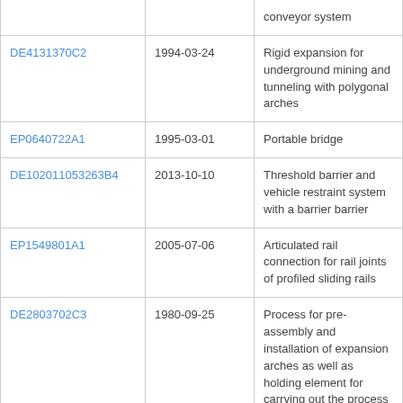| Patent | Date | Description |
| --- | --- | --- |
|  |  | conveyor system |
| DE4131370C2 | 1994-03-24 | Rigid expansion for underground mining and tunneling with polygonal arches |
| EP0640722A1 | 1995-03-01 | Portable bridge |
| DE102011053263B4 | 2013-10-10 | Threshold barrier and vehicle restraint system with a barrier barrier |
| EP1549801A1 | 2005-07-06 | Articulated rail connection for rail joints of profiled sliding rails |
| DE2803702C3 | 1980-09-25 | Process for pre-assembly and installation of expansion arches as well as holding element for carrying out the process |
| DE2854769C2 | 1982-12-23 | Suspension device for |